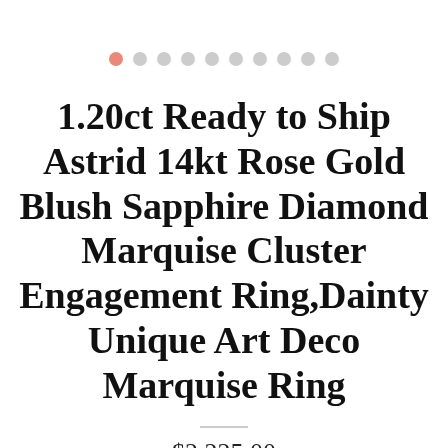[Figure (other): Pagination dots indicator: one salmon/coral filled dot followed by nine gray dots in a horizontal row]
1.20ct Ready to Ship Astrid 14kt Rose Gold Blush Sapphire Diamond Marquise Cluster Engagement Ring,Dainty Unique Art Deco Marquise Ring
$2,225.00
Shipping to United States: Free